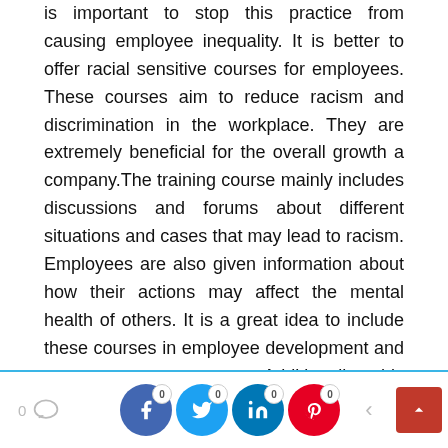is important to stop this practice from causing employee inequality. It is better to offer racial sensitive courses for employees. These courses aim to reduce racism and discrimination in the workplace. They are extremely beneficial for the overall growth a company.The training course mainly includes discussions and forums about different situations and cases that may lead to racism. Employees are also given information about how their actions may affect the mental health of others. It is a great idea to include these courses in employee development and management programs. Additionally, this course discusses how individual words can impact the culture, religion, race, and caste of others.

Different cultures must be respected in order to maintain